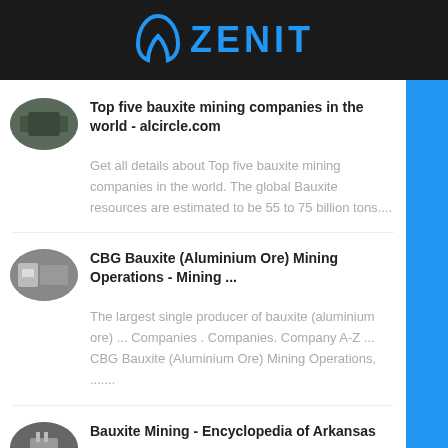ZENIT
Top five bauxite mining companies in the world - alcircle.com
Get all details about Top five bauxite mining companies in the world. The global Bauxite resources are estimated to be 55 to 75 billion tons....
CBG Bauxite (Aluminium Ore) Mining Operations - Mining ...
The largest single producer of bauxite (aluminium ore) ... Companies . Companies. Company A-Z ... CBG Bauxite (Aluminium Ore) Mining Operations, .......
Bauxite Mining - Encyclopedia of Arkansas